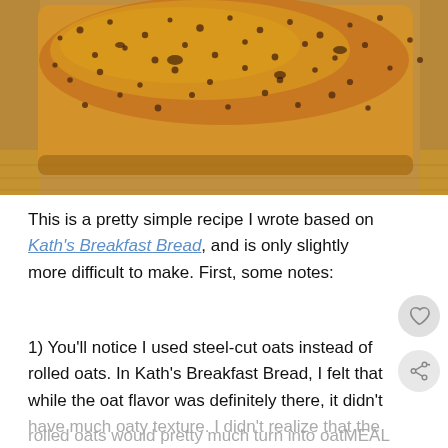[Figure (photo): Close-up photo of a loaf of seeded/oat bread on a wooden cutting board, showing golden-brown top with seeds and oats]
This is a pretty simple recipe I wrote based on Kath's Breakfast Bread, and is only slightly more difficult to make. First, some notes:
1) You'll notice I used steel-cut oats instead of rolled oats. In Kath's Breakfast Bread, I felt that while the oat flavor was definitely there, it didn't have much oaty texture. I didn't realize that the rolled oats would pretty much turn into oatMEAL